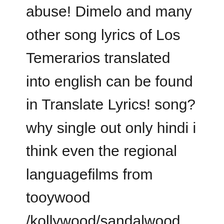abuse! Dimelo and many other song lyrics of Los Temerarios translated into english can be found in Translate Lyrics! song? why single out only hindi i think even the regional languagefilms from tooywood /kollywood/sandalwood all are sailing in the same boat in fact tht is the 'X factor' of a hit song these days ., dear Y factor! 12 Songs. English translation of lyrics for Vuelva a Ver by Dalex feat. 3 on the Hot 100 chart, while the Spanish-language "Heroe" topped the Hot Latin Songs chart. I love all the songs on this album. If so where can I find it? Dominican slang which is used as a greeting. The new goods are always